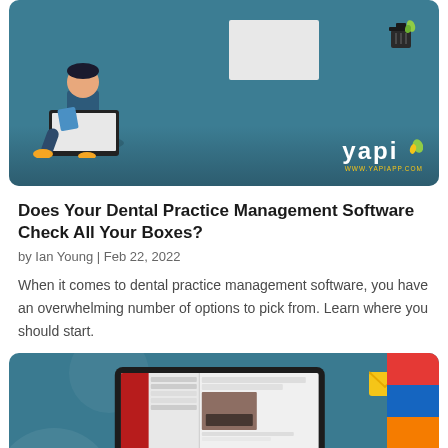[Figure (illustration): Top banner illustration showing a person sitting at a laptop on a teal/blue-green background with the Yapi logo and website URL in the bottom right corner.]
Does Your Dental Practice Management Software Check All Your Boxes?
by Ian Young | Feb 22, 2022
When it comes to dental practice management software, you have an overwhelming number of options to pick from. Learn where you should start.
[Figure (screenshot): Second banner image on a teal background showing a laptop displaying an email client interface, with a floating envelope notification icon in the top right and colorful vertical bars on the right edge.]